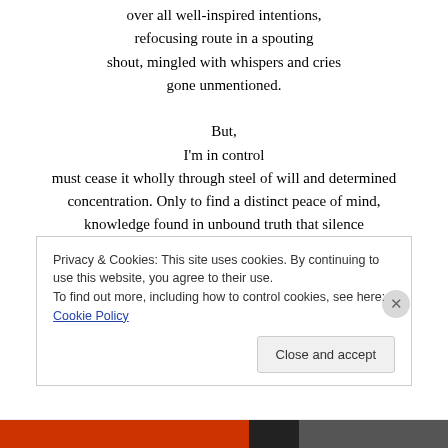over all well-inspired intentions,
refocusing route in a spouting
shout, mingled with whispers and cries
gone unmentioned.

But,
I'm in control
must cease it wholly through steel of will and determined concentration. Only to find a distinct peace of mind, knowledge found in unbound truth that silence

has been silenced
Privacy & Cookies: This site uses cookies. By continuing to use this website, you agree to their use.
To find out more, including how to control cookies, see here: Cookie Policy
Close and accept